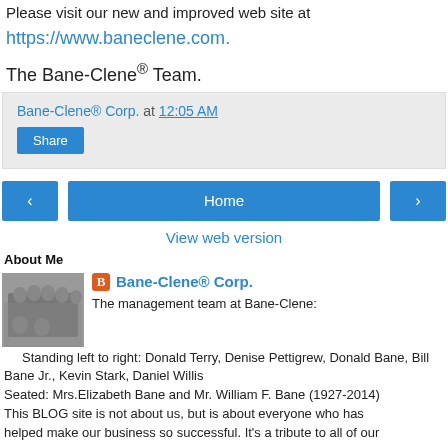Please visit our new and improved web site at https://www.baneclene.com.
The Bane-Clene® Team.
Bane-Clene® Corp. at 12:05 AM
Share
‹  Home  ›
View web version
About Me
Bane-Clene® Corp.
The management team at Bane-Clene: Standing left to right: Donald Terry, Denise Pettigrew, Donald Bane, Bill Bane Jr., Kevin Stark, Daniel Willis Seated: Mrs.Elizabeth Bane and Mr. William F. Bane (1927-2014) This BLOG site is not about us, but is about everyone who has helped make our business so successful. It's a tribute to all of our